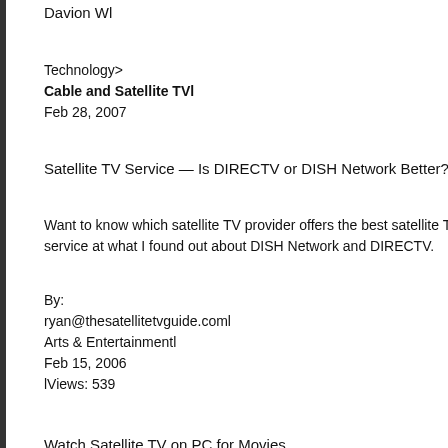Davion Wl
Technology>
Cable and Satellite TVl
Feb 28, 2007
Satellite TV Service — Is DIRECTV or DISH Network Better?
Want to know which satellite TV provider offers the best satellite TV service at what I found out about DISH Network and DIRECTV.
By:
ryan@thesatellitetvguide.coml
Arts & Entertainmentl
Feb 15, 2006
lViews: 539
Watch Satellite TV on PC for Movies
Get a effective and quality internet television software so you can watch satelli...
By:
Niel Smithl
Arts & Entertainment>
Televisionl
Aug 21, 2010